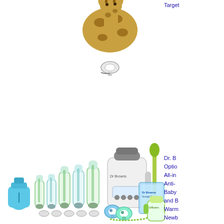[Figure (photo): Partial image of a giraffe stuffed animal / baby toy with a pacifier clip, visible at top center of the page]
Target
[Figure (photo): Dr. Brown's Options+ All-in-One Anti-Colic baby bottle gift set with bottle warmer, newborn gift set, various bottles, pacifiers, bottle brush, storage bags, sippy cup, and formula dispenser]
Dr. Brown's Options+ All-in-One Anti-Colic Baby Bottle and Bottle Warmer Newborn Gift Set Designed for Purchase $99.99 Target